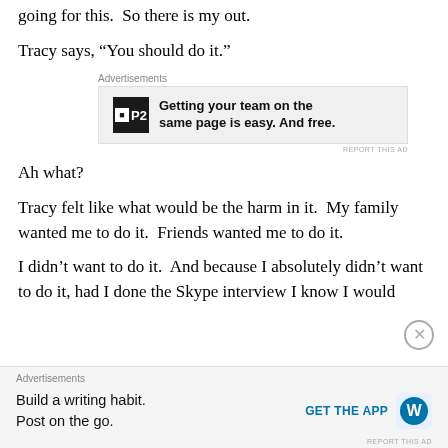going for this.  So there is my out.
Tracy says, “You should do it.”
[Figure (other): Advertisement banner for P2: 'Getting your team on the same page is easy. And free.']
Ah what?
Tracy felt like what would be the harm in it.  My family wanted me to do it.  Friends wanted me to do it.
I didn’t want to do it.  And because I absolutely didn’t want to do it, had I done the Skype interview I know I would
[Figure (other): Advertisement for WordPress app: 'Build a writing habit. Post on the go.' with GET THE APP button and WordPress logo.]